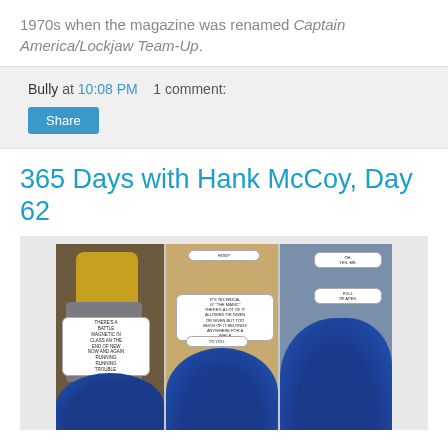1970s when the magazine was renamed Captain America/Lockjaw Team-Up.
Bully at 10:08 PM    1 comment:
Share
365 Days with Hank McCoy, Day 62
[Figure (illustration): Comic book panels showing armored figure on left, center panel with two characters including a blue-furred Beast character, and right panel with close-up of blue-furred Beast. Speech bubbles contain dialogue throughout.]